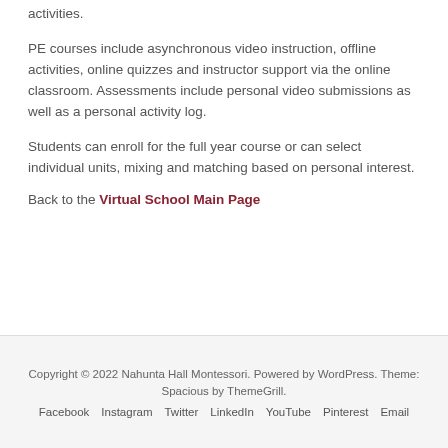activities.
PE courses include asynchronous video instruction, offline activities, online quizzes and instructor support via the online classroom. Assessments include personal video submissions as well as a personal activity log.
Students can enroll for the full year course or can select individual units, mixing and matching based on personal interest.
Back to the Virtual School Main Page
Copyright © 2022 Nahunta Hall Montessori. Powered by WordPress. Theme: Spacious by ThemeGrill.
Facebook   Instagram   Twitter   LinkedIn   YouTube   Pinterest   Email